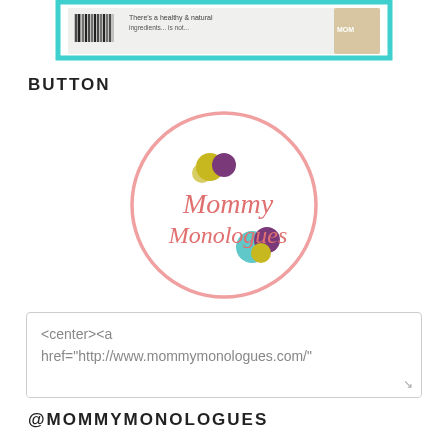[Figure (screenshot): Partial screenshot of a product image with cyan/turquoise border at the top of the page]
BUTTON
[Figure (logo): Mommy Monologues circular logo with pink border, colorful dots, and pink text]
<center><a href="http://www.mommymonologues.com/"
@MOMMYMONOLOGUES